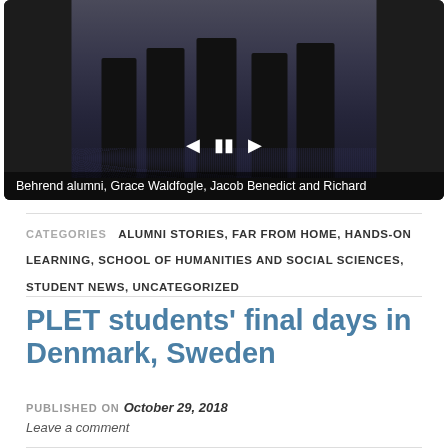[Figure (screenshot): Video player showing Behrend alumni at an event, with playback controls visible. Caption reads: Behrend alumni, Grace Waldfogle, Jacob Benedict and Richard]
Behrend alumni, Grace Waldfogle, Jacob Benedict and Richard
CATEGORIES  ALUMNI STORIES, FAR FROM HOME, HANDS-ON LEARNING, SCHOOL OF HUMANITIES AND SOCIAL SCIENCES, STUDENT NEWS, UNCATEGORIZED
PLET students' final days in Denmark, Sweden
PUBLISHED ON October 29, 2018
Leave a comment